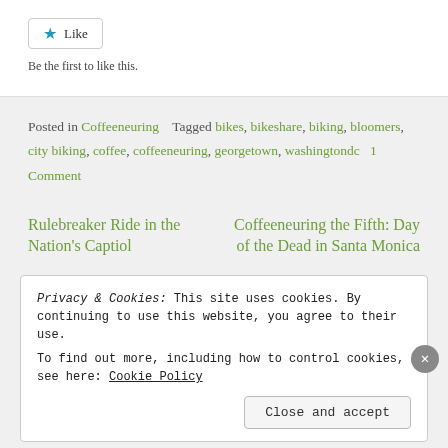[Figure (other): Like button widget with star icon and 'Like' label, followed by text 'Be the first to like this.']
Posted in Coffeeneuring   Tagged bikes, bikeshare, biking, bloomers, city biking, coffee, coffeeneuring, georgetown, washingtondc   1 Comment
Rulebreaker Ride in the Nation's Captiol
Coffeeneuring the Fifth: Day of the Dead in Santa Monica
Privacy & Cookies: This site uses cookies. By continuing to use this website, you agree to their use.
To find out more, including how to control cookies, see here: Cookie Policy
Close and accept